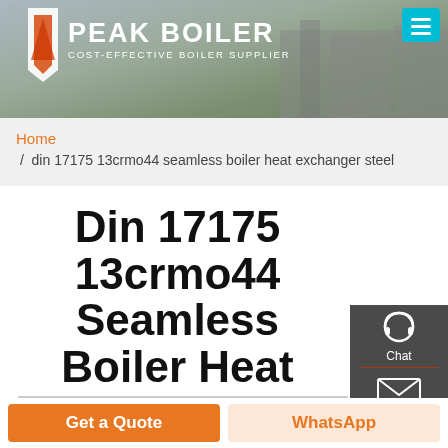[Figure (screenshot): Peak Boiler website header banner with logo, company name 'PEAK BOILER', tagline 'COST-EFFECTIVE BOILER SUPPLIER', teal menu button, and factory building background image]
Home / din 17175 13crmo44 seamless boiler heat exchanger steel
Din 17175 13crmo44 Seamless Boiler Heat Exchanger Steel
[Figure (infographic): Sidebar contact widget with Chat (headset icon), Email (envelope icon), and Contact (speech bubble icon) options on dark grey background]
Get a Quote
WhatsApp